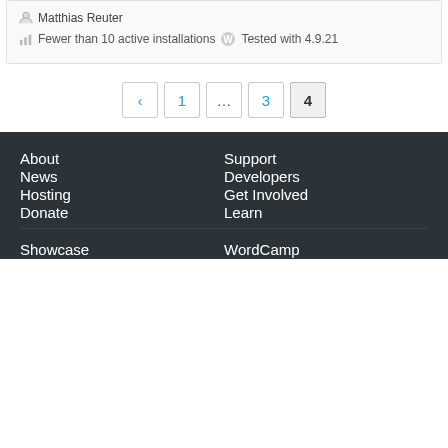Matthias Reuter
Fewer than 10 active installations  Tested with 4.9.21
‹ 1 … 3 4
About
Support
News
Developers
Hosting
Get Involved
Donate
Learn
Showcase
WordCamp